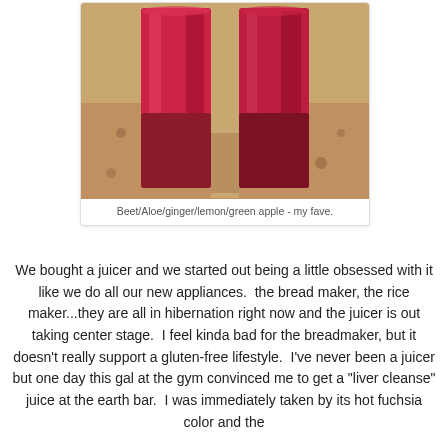[Figure (photo): Two tall glasses filled with deep red/magenta beet juice sitting on a granite countertop]
Beet/Aloe/ginger/lemon/green apple - my fave.
We bought a juicer and we started out being a little obsessed with it like we do all our new appliances.  the bread maker, the rice maker...they are all in hibernation right now and the juicer is out taking center stage.  I feel kinda bad for the breadmaker, but it doesn't really support a gluten-free lifestyle.  I've never been a juicer but one day this gal at the gym convinced me to get a "liver cleanse" juice at the earth bar.  I was immediately taken by its hot fuchsia color and the